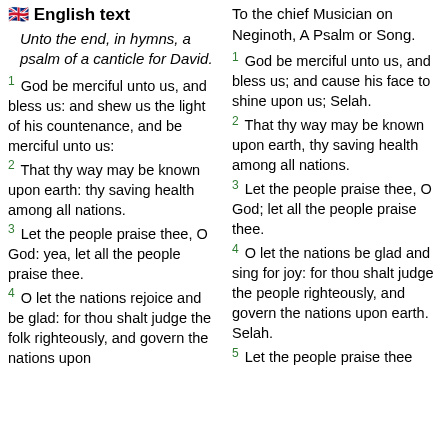🇬🇧 English text
Unto the end, in hymns, a psalm of a canticle for David.
1  God be merciful unto us, and bless us: and shew us the light of his countenance, and be merciful unto us:
2  That thy way may be known upon earth: thy saving health among all nations.
3  Let the people praise thee, O God: yea, let all the people praise thee.
4  O let the nations rejoice and be glad: for thou shalt judge the folk righteously, and govern the nations upon
To the chief Musician on Neginoth, A Psalm or Song.
1  God be merciful unto us, and bless us; and cause his face to shine upon us; Selah.
2  That thy way may be known upon earth, thy saving health among all nations.
3  Let the people praise thee, O God; let all the people praise thee.
4  O let the nations be glad and sing for joy: for thou shalt judge the people righteously, and govern the nations upon earth. Selah.
5  Let the people praise thee